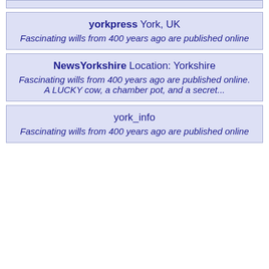(partial card at top)
yorkpress York, UK
Fascinating wills from 400 years ago are published online
NewsYorkshire Location: Yorkshire
Fascinating wills from 400 years ago are published online.
A LUCKY cow, a chamber pot, and a secret...
york_info
Fascinating wills from 400 years ago are published online